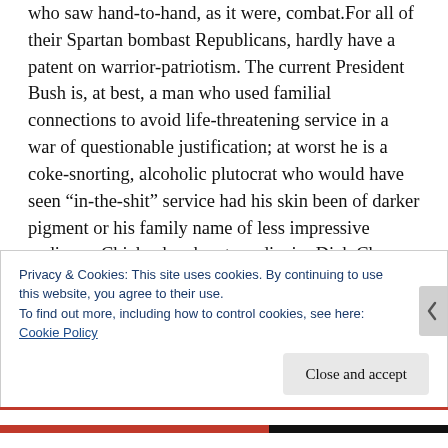who saw hand-to-hand, as it were, combat.For all of their Spartan bombast Republicans, hardly have a patent on warrior-patriotism. The current President Bush is, at best, a man who used familial connections to avoid life-threatening service in a war of questionable justification; at worst he is a coke-snorting, alcoholic plutocrat who would have seen “in-the-shit” service had his skin been of darker pigment or his family name of less impressive pedigree. Chickenhawk extraordinaire Dick Cheney had several deferments and appears to have conceived a child in order to avoid service.
Privacy & Cookies: This site uses cookies. By continuing to use this website, you agree to their use.
To find out more, including how to control cookies, see here: Cookie Policy